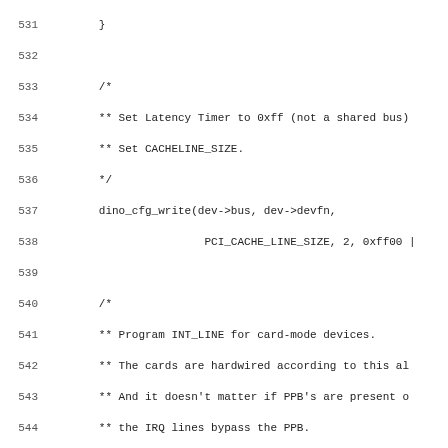Source code listing, lines 531-563, C code for dino PCI configuration